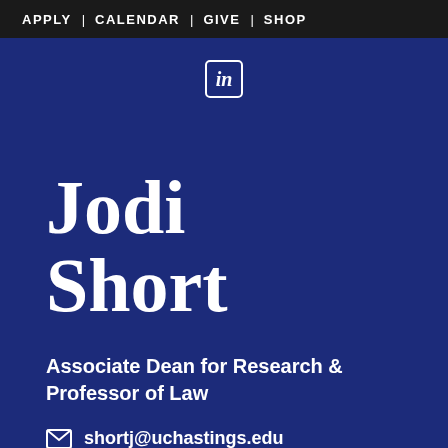APPLY | CALENDAR | GIVE | SHOP
[Figure (logo): LinkedIn logo icon — white 'in' in a white-bordered rounded square on dark blue background]
Jodi Short
Associate Dean for Research & Professor of Law
shortj@uchastings.edu